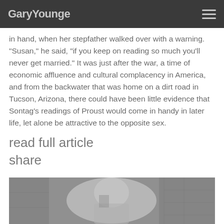GaryYounge
in hand, when her stepfather walked over with a warning. "Susan," he said, "if you keep on reading so much you'll never get married." It was just after the war, a time of economic affluence and cultural complacency in America, and from the backwater that was home on a dirt road in Tucson, Arizona, there could have been little evidence that Sontag's readings of Proust would come in handy in later life, let alone be attractive to the opposite sex.
read full article
share
[Figure (photo): A black and white photograph showing a person, partially visible, in front of a brick wall background.]